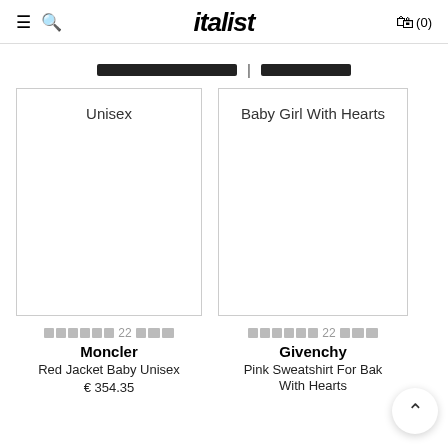italist — (0)
████████████████████ | ████████████████
[Figure (other): Product image placeholder box with text 'Unisex']
███████ 22█ ██
Moncler
Red Jacket Baby Unisex
€ 354.35
[Figure (other): Product image placeholder box with text 'Baby Girl With Hearts']
███████ 22█ ██
Givenchy
Pink Sweatshirt For Baby Girl With Hearts